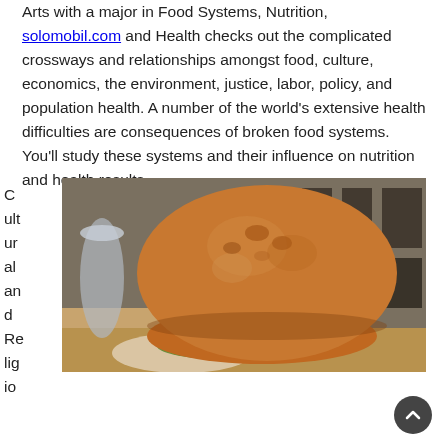Arts with a major in Food Systems, Nutrition, solomobil.com and Health checks out the complicated crossways and relationships amongst food, culture, economics, the environment, justice, labor, policy, and population health. A number of the world's extensive health difficulties are consequences of broken food systems. You'll study these systems and their influence on nutrition and health results.
[Figure (photo): A close-up photo of a burger/bread roll on a wooden surface with lettuce visible, with a restaurant interior in the background showing chairs and tables.]
Cultural and Religio